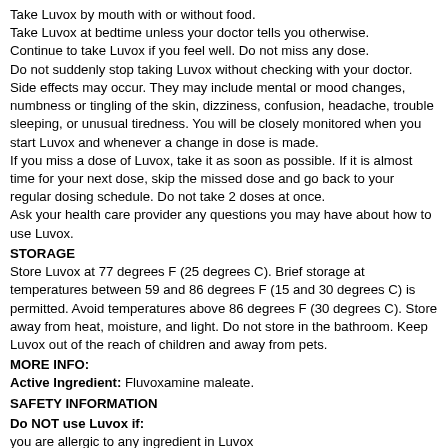Take Luvox by mouth with or without food.
Take Luvox at bedtime unless your doctor tells you otherwise.
Continue to take Luvox if you feel well. Do not miss any dose.
Do not suddenly stop taking Luvox without checking with your doctor. Side effects may occur. They may include mental or mood changes, numbness or tingling of the skin, dizziness, confusion, headache, trouble sleeping, or unusual tiredness. You will be closely monitored when you start Luvox and whenever a change in dose is made.
If you miss a dose of Luvox, take it as soon as possible. If it is almost time for your next dose, skip the missed dose and go back to your regular dosing schedule. Do not take 2 doses at once.
Ask your health care provider any questions you may have about how to use Luvox.
STORAGE
Store Luvox at 77 degrees F (25 degrees C). Brief storage at temperatures between 59 and 86 degrees F (15 and 30 degrees C) is permitted. Avoid temperatures above 86 degrees F (30 degrees C). Store away from heat, moisture, and light. Do not store in the bathroom. Keep Luvox out of the reach of children and away from pets.
MORE INFO:
Active Ingredient: Fluvoxamine maleate.
SAFETY INFORMATION
Do NOT use Luvox if:
you are allergic to any ingredient in Luvox
you are taking or have taken a monoamine oxidase inhibitor (MAOI) (eg, phenelzine) or St. John's wort within the last 14 days
you are taking alosetron, astemizole, a fenfluramine derivative (eg, dexfenfluramine), nefazodone, pimozide, ramelteon, sibutramine, terfenadine, thioridazine, or tizanidine.
Contact your doctor or health care provider right away if any of these apply to you.